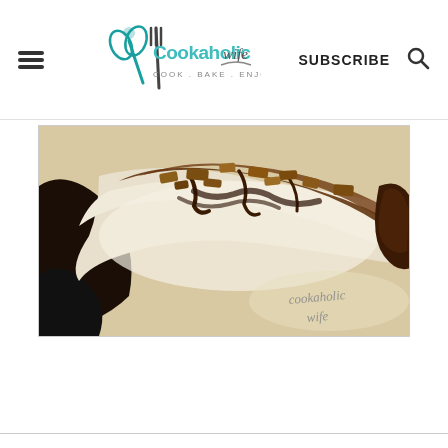Cookaholic Wife — COOK . BAKE . ENJOY | SUBSCRIBE
[Figure (photo): Close-up photo of a slice of cheesecake with an Oreo cookie crust, topped with chocolate sauce and crushed toffee/candy pieces. The watermark 'cookaholic wife' appears in the lower right corner.]